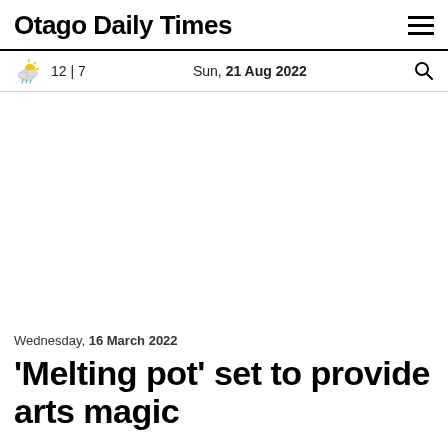Otago Daily Times
12 | 7   Sun, 21 Aug 2022
Wednesday, 16 March 2022
'Melting pot' set to provide arts magic